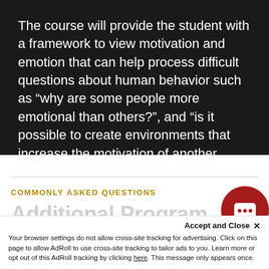The course will provide the student with a framework to view motivation and emotion that can help process difficult questions about human behavior such as “why are some people more emotional than others?”, and “is it possible to create environments that increase the motivation of another human?”
COMMONLY ASKED QUESTIONS
Additional Program Details
Accept and Close ×
Your browser settings do not allow cross-site tracking for advertising. Click on this page to allow AdRoll to use cross-site tracking to tailor ads to you. Learn more or opt out of this AdRoll tracking by clicking here. This message only appears once.